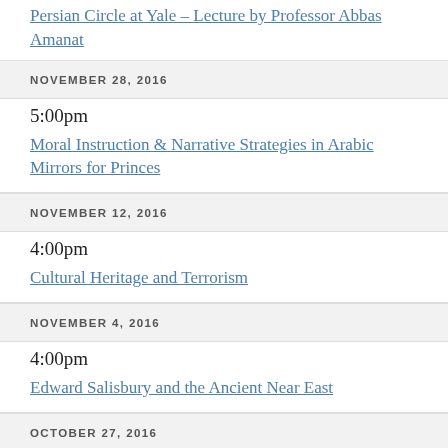Persian Circle at Yale – Lecture by Professor Abbas Amanat
NOVEMBER 28, 2016
5:00pm
Moral Instruction & Narrative Strategies in Arabic Mirrors for Princes
NOVEMBER 12, 2016
4:00pm
Cultural Heritage and Terrorism
NOVEMBER 4, 2016
4:00pm
Edward Salisbury and the Ancient Near East
OCTOBER 27, 2016